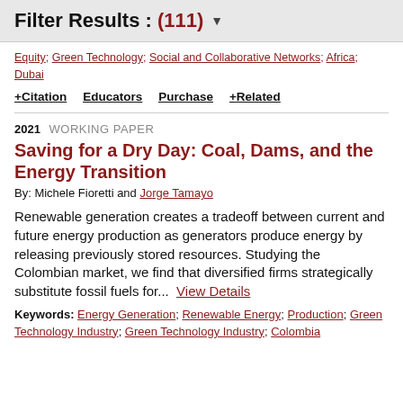Filter Results : (111) ▼
Equity; Green Technology; Social and Collaborative Networks; Africa; Dubai
+ Citation   Educators   Purchase   + Related
2021  WORKING PAPER
Saving for a Dry Day: Coal, Dams, and the Energy Transition
By: Michele Fioretti and Jorge Tamayo
Renewable generation creates a tradeoff between current and future energy production as generators produce energy by releasing previously stored resources. Studying the Colombian market, we find that diversified firms strategically substitute fossil fuels for... View Details
Keywords: Energy Generation; Renewable Energy; Production; Green Technology Industry; Green Technology Industry; Colombia